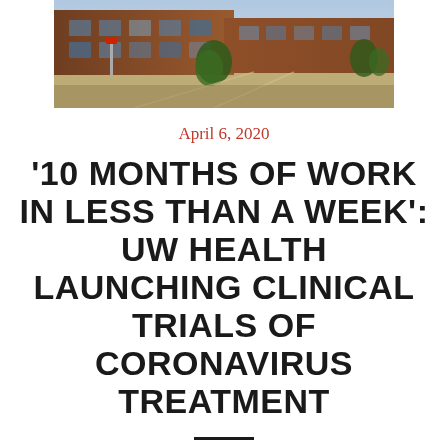[Figure (photo): Exterior photo of a brick university health building with trees and walkway]
April 6, 2020
'10 MONTHS OF WORK IN LESS THAN A WEEK': UW HEALTH LAUNCHING CLINICAL TRIALS OF CORONAVIRUS TREATMENT